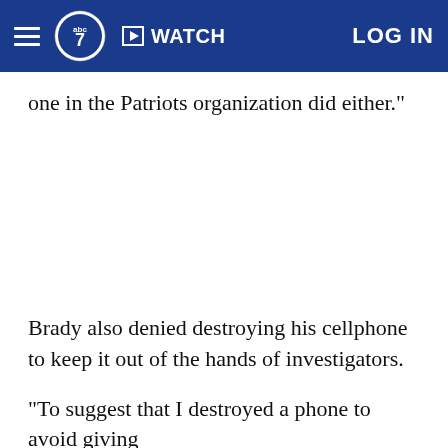abc7 WATCH LOG IN
one in the Patriots organization did either."
Brady also denied destroying his cellphone to keep it out of the hands of investigators.
"To suggest that I destroyed a phone to avoid giving